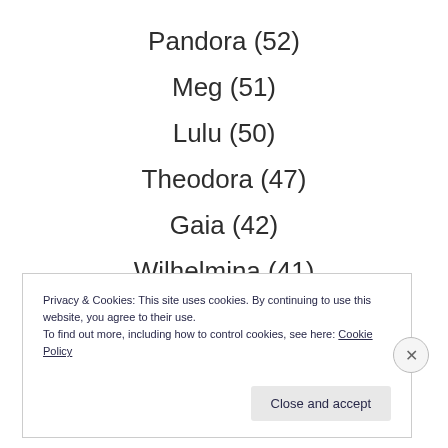Pandora (52)
Meg (51)
Lulu (50)
Theodora (47)
Gaia (42)
Wilhelmina (41)
Privacy & Cookies: This site uses cookies. By continuing to use this website, you agree to their use.
To find out more, including how to control cookies, see here: Cookie Policy
Close and accept